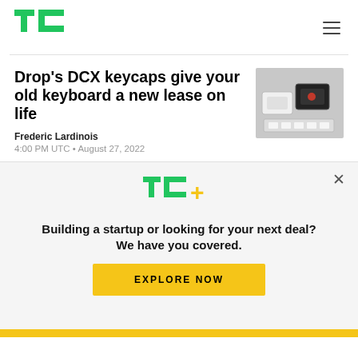TechCrunch
Drop's DCX keycaps give your old keyboard a new lease on life
Frederic Lardinois
4:00 PM UTC • August 27, 2022
[Figure (photo): Photo of DCX keycaps with keyboard hardware]
[Figure (logo): TechCrunch TC+ logo]
Building a startup or looking for your next deal? We have you covered.
EXPLORE NOW